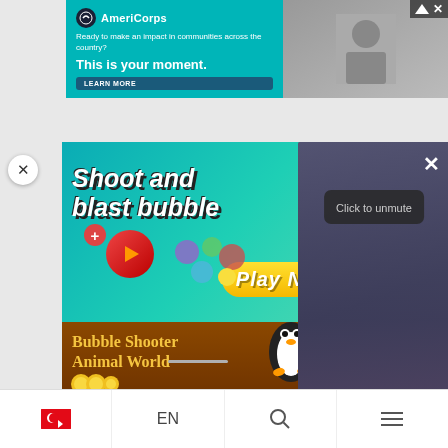[Figure (screenshot): AmeriCorp advertisement banner with teal background showing logo, tagline 'Ready to make an impact in communities across the country? This is your moment.' with Learn More button and person image on right]
[Figure (screenshot): Bubble Shooter Animal World game advertisement showing colorful game graphics with 'Shoot and blast bubbles' text, Play Now button, and penguin character on brown bar]
[Figure (screenshot): Video overlay panel with dark blurred background, X close button, Click to unmute button, and pause control at bottom]
[Figure (screenshot): Bottom navigation bar with Turkish flag, EN language selector, search icon, and hamburger menu]